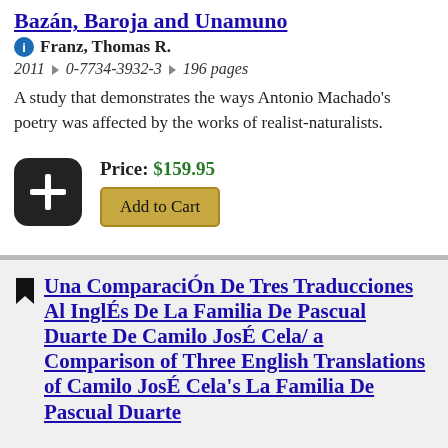Bazán, Baroja and Unamuno
Franz, Thomas R.
2011 ▲ 0-7734-3932-3 ▲ 196 pages
A study that demonstrates the ways Antonio Machado's poetry was affected by the works of realist-naturalists.
Price: $159.95
Add to Cart
Una ComparaciÓn De Tres Traducciones Al InglÉs De La Familia De Pascual Duarte De Camilo JosÉ Cela/ a Comparison of Three English Translations of Camilo JosÉ Cela's La Familia De Pascual Duarte